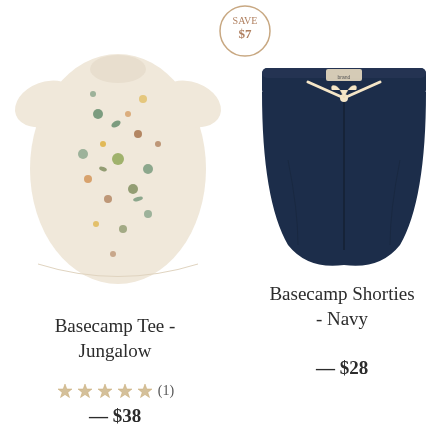[Figure (other): SAVE $7 circular badge outline]
[Figure (photo): Cream/beige children's t-shirt with colorful vegetable and nature print pattern (Basecamp Tee Jungalow)]
[Figure (photo): Navy blue children's shorts with cream drawstring tie (Basecamp Shorties Navy)]
Basecamp Tee - Jungalow
★★★★★ (1)
— $38
Basecamp Shorties - Navy
— $28